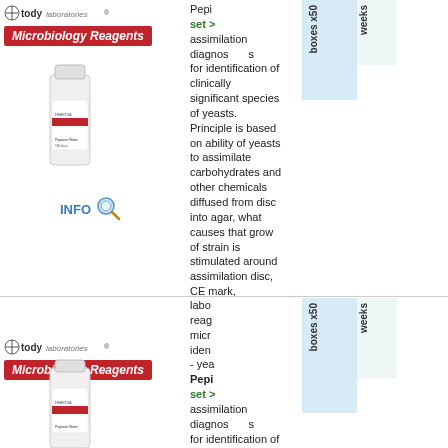[Figure (logo): Tody Laboratories logo with Microbiology Reagents red banner]
[Figure (photo): White laboratory reagent bottle/container]
INFO
Peptone water assimilation diagnostics for identification of clinically significant species of yeasts. Principle is based on ability of yeasts to assimilate carbohydrates and other chemicals diffused from disc into agar, what causes that grow of strain is stimulated around assimilation disc, CE mark, todylaboratories®, code C53MR1048-500
[Figure (logo): Tody Laboratories logo with Microbiology Reagents red banner (second entry)]
laboratory reagents microbiology identification - yeasts Peptone water set of assimilation diagnostics for identification of clinically significant species of yeasts. Principle is based on ability of yeasts to assimilate carbohydrates and other chemicals diffused from disc into agar, what
[Figure (photo): White laboratory reagent bottle/container (second entry)]